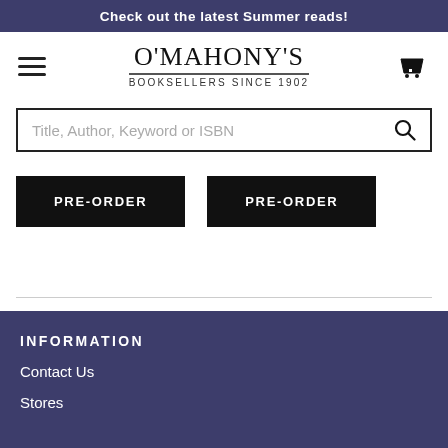Check out the latest Summer reads!
[Figure (logo): O'Mahony's Booksellers Since 1902 logo with hamburger menu and cart icon]
Title, Author, Keyword or ISBN
PRE-ORDER
PRE-ORDER
INFORMATION
Contact Us
Stores